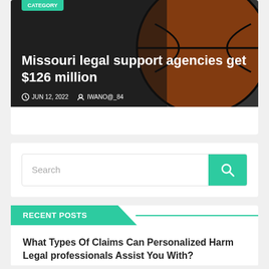[Figure (photo): Basketball with dark overlay background for article hero image]
Missouri legal support agencies get $126 million
JUN 12, 2022   IWANO@_84
[Figure (other): Search bar with teal search button]
RECENT POSTS
What Types Of Claims Can Personalized Harm Legal professionals Assist You With?